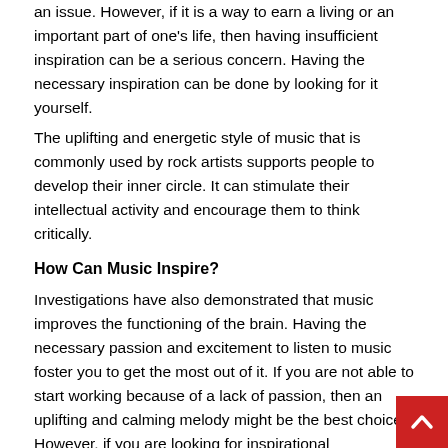an issue. However, if it is a way to earn a living or an important part of one's life, then having insufficient inspiration can be a serious concern. Having the necessary inspiration can be done by looking for it yourself.
The uplifting and energetic style of music that is commonly used by rock artists supports people to develop their inner circle. It can stimulate their intellectual activity and encourage them to think critically.
How Can Music Inspire?
Investigations have also demonstrated that music improves the functioning of the brain. Having the necessary passion and excitement to listen to music foster you to get the most out of it. If you are not able to start working because of a lack of passion, then an uplifting and calming melody might be the best choice. However, if you are looking for inspirational background music, then a quiet melody is better to opt for.